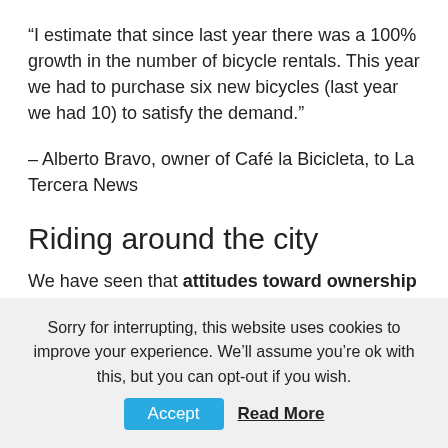“I estimate that since last year there was a 100% growth in the number of bicycle rentals. This year we had to purchase six new bicycles (last year we had 10) to satisfy the demand.”
– Alberto Bravo, owner of Café la Bicicleta, to La Tercera News
Riding around the city
We have seen that attitudes toward ownership are changing and consumers are increasingly opting to rent and share instead of purchasing items such as bicycles,
Sorry for interrupting, this website uses cookies to improve your experience. We’ll assume you’re ok with this, but you can opt-out if you wish.
Accept
Read More